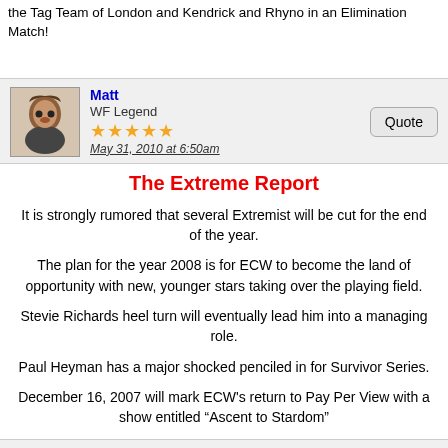the Tag Team of London and Kendrick and Rhyno in an Elimination Match!
Matt
WF Legend
May 31, 2010 at 6:50am
The Extreme Report
It is strongly rumored that several Extremist will be cut for the end of the year.
The plan for the year 2008 is for ECW to become the land of opportunity with new, younger stars taking over the playing field.
Stevie Richards heel turn will eventually lead him into a managing role.
Paul Heyman has a major shocked penciled in for Survivor Series.
December 16, 2007 will mark ECW's return to Pay Per View with a show entitled “Ascent to Stardom”